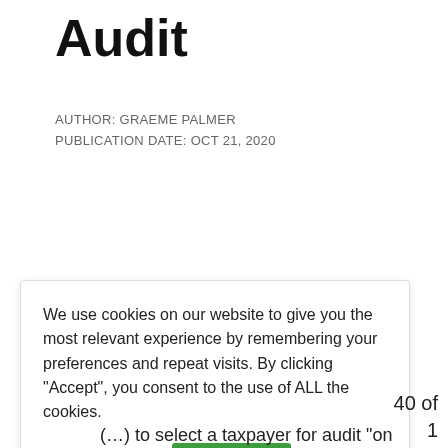Audit
AUTHOR: GRAEME PALMER
PUBLICATION DATE: OCT 21, 2020
We use cookies on our website to give you the most relevant experience by remembering your preferences and repeat visits. By clicking "Accept", you consent to the use of ALL the cookies.
Cookie settings   ACCEPT
40 of 1
(...) to select a taxpayer for audit "on